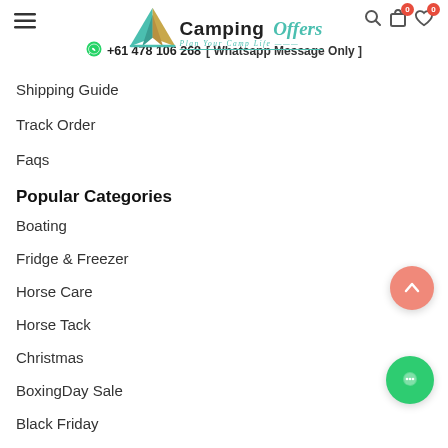Camping Offers — Plan Your Camp Life
+61 478 106 268 [ Whatsapp Message Only ]
Shipping Guide
Track Order
Faqs
Popular Categories
Boating
Fridge & Freezer
Horse Care
Horse Tack
Christmas
BoxingDay Sale
Black Friday